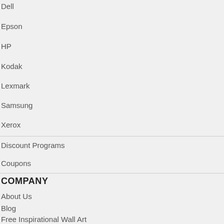Dell
Epson
HP
Kodak
Lexmark
Samsung
Xerox
Discount Programs
Coupons
COMPANY
About Us
Blog
Free Inspirational Wall Art
Free Printable Worksheets